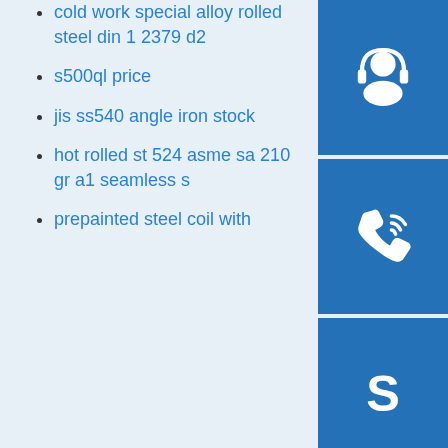cold work special alloy rolled steel din 1 2379 d2
s500ql price
jis ss540 angle iron stock
hot rolled st 524 asme sa 210 gr a1 seamless s…
prepainted steel coil with
[Figure (illustration): Three blue icon buttons on the right side: headset/customer service icon, phone/call icon, and Skype icon (letter S)]
S355K2W corten steel
2507 stainless steel hrc for household appliances supplier
knurled head 6 32 type thumb screw
4 x8 304 316 309s 310s 904l stainless sheet plate price